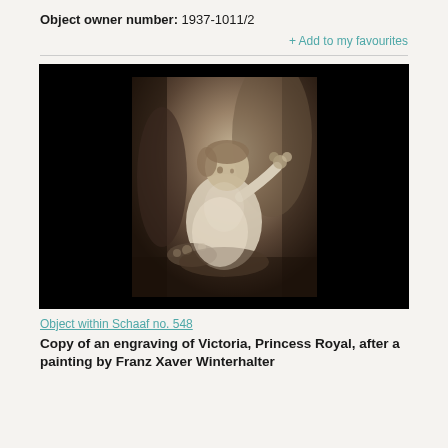Object owner number: 1937-1011/2
+ Add to my favourites
[Figure (photo): Black and white photograph of a young child (Victoria, Princess Royal) seated and holding flowers, reproduction of an engraving after a painting by Franz Xaver Winterhalter. The photo shows a sepia-toned portrait of a small child in white dress sitting among floral arrangements.]
Object within Schaaf no. 548
Copy of an engraving of Victoria, Princess Royal, after a painting by Franz Xaver Winterhalter